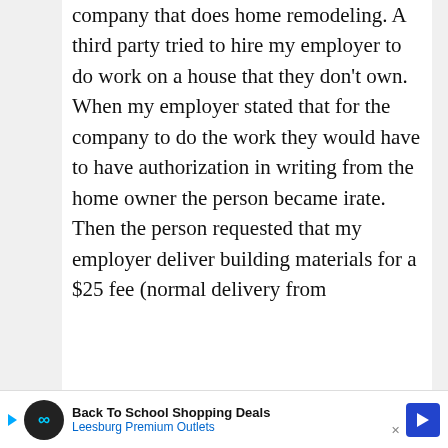company that does home remodeling. A third party tried to hire my employer to do work on a house that they don't own. When my employer stated that for the company to do the work they would have to have authorization in writing from the home owner the person became irate. Then the person requested that my employer deliver building materials for a $25 fee (normal delivery from
[Figure (other): Advertisement banner for Leesburg Premium Outlets - Back To School Shopping Deals]